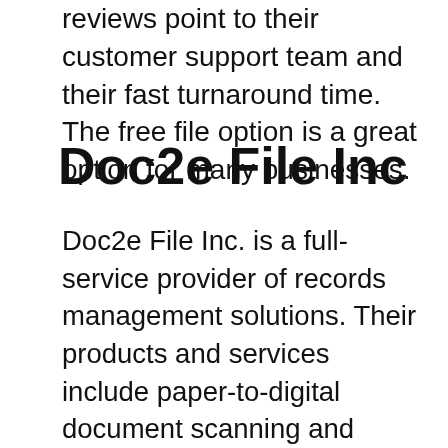reviews point to their customer support team and their fast turnaround time. The free file option is a great option for many businesses.
Doc2e File Inc
Doc2e File Inc. is a full-service provider of records management solutions. Their products and services include paper-to-digital document scanning and indexing, electronic records management (ERM) software, data conversion and content management systems. Founded in 1999, the company is a certified HUBZone, women-owned and small disadvantaged business (SDB) business. They are committed to building lasting relationships with their clients.